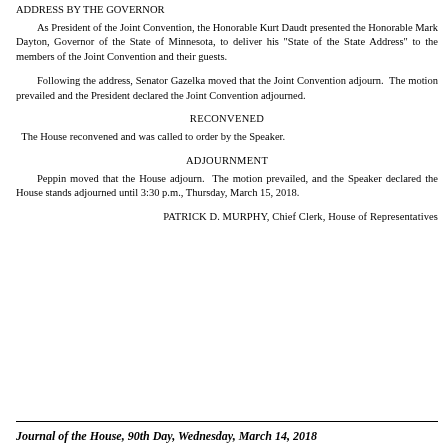ADDRESS BY THE GOVERNOR
As President of the Joint Convention, the Honorable Kurt Daudt presented the Honorable Mark Dayton, Governor of the State of Minnesota, to deliver his "State of the State Address" to the members of the Joint Convention and their guests.
Following the address, Senator Gazelka moved that the Joint Convention adjourn. The motion prevailed and the President declared the Joint Convention adjourned.
RECONVENED
The House reconvened and was called to order by the Speaker.
ADJOURNMENT
Peppin moved that the House adjourn. The motion prevailed, and the Speaker declared the House stands adjourned until 3:30 p.m., Thursday, March 15, 2018.
PATRICK D. MURPHY, Chief Clerk, House of Representatives
Journal of the House, 90th Day, Wednesday, March 14, 2018